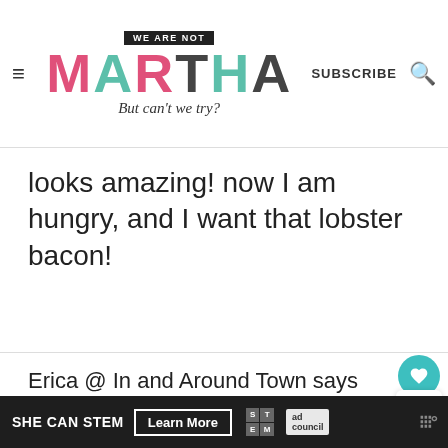WE ARE NOT MARTHA — But can't we try? | SUBSCRIBE
looks amazing! now I am hungry, and I want that lobster bacon!
Erica @ In and Around Town says
June 28, 2012 at 1:04 pm
WHAT'S NEXT → Wedding Wind-Down
Great photos! Looks like a perfect
SHE CAN STEM  Learn More  STEM  ad council